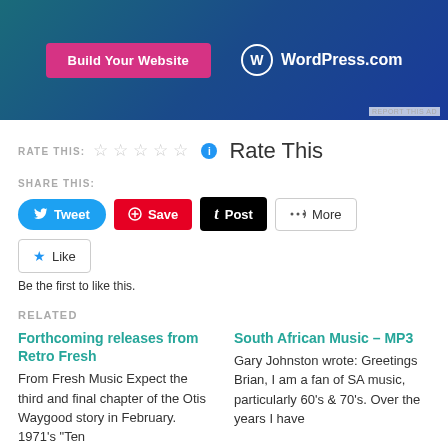[Figure (screenshot): WordPress.com advertisement banner with 'Build Your Website' pink button and WordPress.com logo on dark blue gradient background]
RATE THIS: ☆ ☆ ☆ ☆ ☆ ℹ️ Rate This
SHARE THIS:
Tweet  Save  Post  More
Like
Be the first to like this.
RELATED
Forthcoming releases from Retro Fresh
From Fresh Music Expect the third and final chapter of the Otis Waygood story in February. 1971's "Ten
South African Music – MP3
Gary Johnston wrote: Greetings Brian, I am a fan of SA music, particularly 60's & 70's. Over the years I have